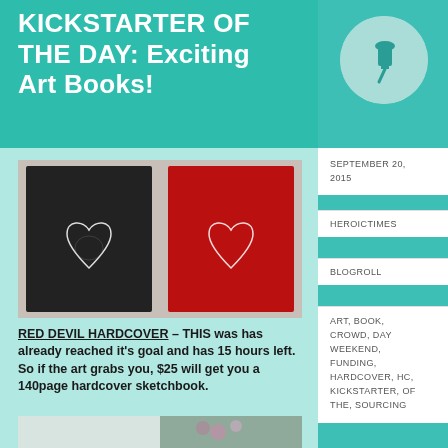KICKSTARTER OF THE DAY: Exciting Art Books!
[Figure (photo): Two hardcover art books side by side — one black and one red — each with a white heart illustration on the cover]
RED DEVIL HARDCOVER – THIS was has already reached it's goal and has 15 hours left. So if the art grabs you, $25 will get you a 140page hardcover sketchbook.
[Figure (photo): Partial view of an open art book with floral/nature photography pages]
SEPTEMBER 20, 2015
HEROICTIMES
BLOGROLL
ART, BOOK, CROWD, DAY WEEKEND, FUNDING, HARDCOVER, HC, KICKSTARTER, OF THE, SOURCING